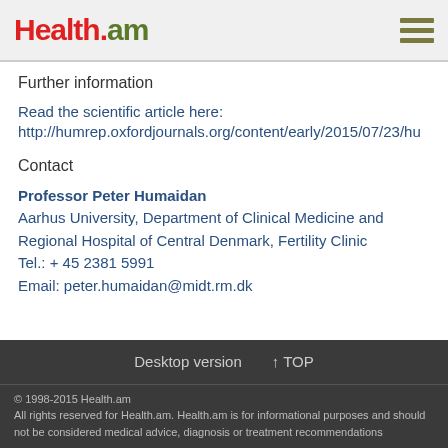Health.am
Further information
Read the scientific article here:
http://humrep.oxfordjournals.org/content/early/2015/07/23/hu
Contact
Professor Peter Humaidan
Aarhus University, Department of Clinical Medicine and Regional Hospital of Central Denmark, Fertility Clinic
Tel.: + 45 2381 5991
Email: peter.humaidan@midt.rm.dk
Desktop version  ↑ TOP
© 1998-2015 Health.am
All rights reserved for Health.am. Health.am is for informational purposes and should not be considered medical advice, diagnosis or treatment recommendations